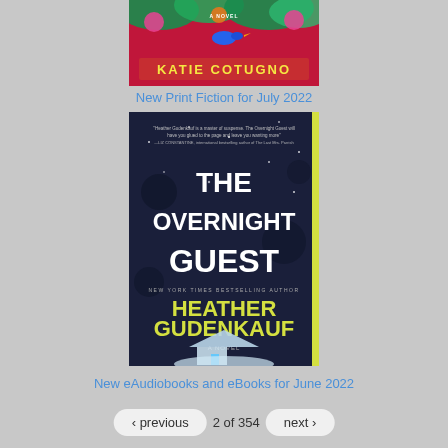[Figure (illustration): Book cover for a novel by Katie Cotugno featuring tropical flowers and a blue bird on a pink/red background with 'A NOVEL' and 'KATIE COTUGNO' text]
New Print Fiction for July 2022
[Figure (illustration): Book cover for 'The Overnight Guest' by Heather Gudenkauf (New York Times Bestselling Author) - dark blue/night background with a house in snow, featuring white title text and yellow author name. Includes a quote from Liz Constantine.]
New eAudiobooks and eBooks for June 2022
‹ previous   2 of 354   next ›